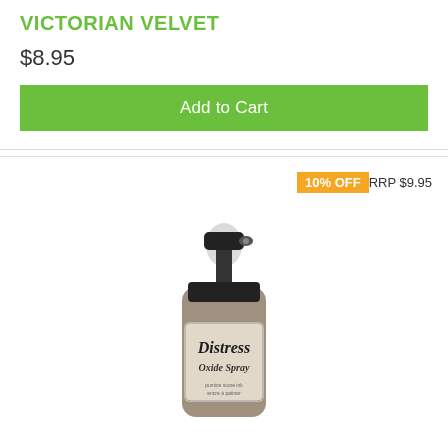VICTORIAN VELVET
$8.95
Add to Cart
10% OFF   RRP $9.95
[Figure (photo): Tim Holtz Distress Oxide Spray bottle in Pumice Stone color — grey spray bottle with pump top and decorative label]
Tim Holtz Distress Oxide Sprays - PUMICE STONE